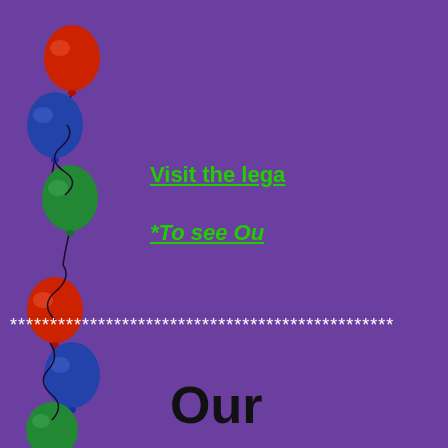[Figure (illustration): Vertical strip of colorful balloons (red, blue, green) with curly strings along the left edge of the page, against a purple background.]
Visit the lega
*To see Ou
****************************************************
Our